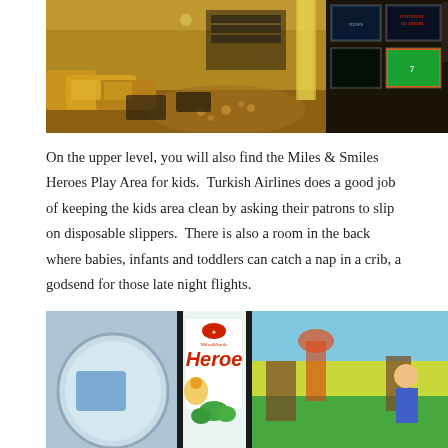[Figure (photo): Interior of Turkish Airlines CIP Lounge showing lounge area with yellow/gold sofas and seating on the left, wooden flooring, and a wall of multiple television screens on the right side]
On the upper level, you will also find the Miles & Smiles Heroes Play Area for kids.  Turkish Airlines does a good job of keeping the kids area clean by asking their patrons to slip on disposable slippers.  There is also a room in the back where babies, infants and toddlers can catch a nap in a crib, a godsend for those late night flights.
[Figure (photo): Miles & Smiles Heroes Play Area showing glass partitions, a sign reading 'Miles & Smiles Heroes' with a cartoon character graphic, and colorful interior with children's play area visible]